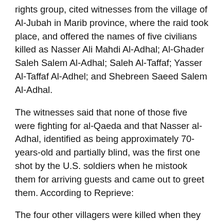rights group, cited witnesses from the village of Al-Jubah in Marib province, where the raid took place, and offered the names of five civilians killed as Nasser Ali Mahdi Al-Adhal; Al-Ghader Saleh Salem Al-Adhal; Saleh Al-Taffaf; Yasser Al-Taffaf Al-Adhel; and Shebreen Saeed Salem Al-Adhal.
The witnesses said that none of those five were fighting for al-Qaeda and that Nasser al-Adhal, identified as being approximately 70-years-old and partially blind, was the first one shot by the U.S. soldiers when he mistook them for arriving guests and came out to greet them. According to Reprieve:
The four other villagers were killed when they started to argue with the Navy Seals after the shooting of Nasser al-Adhal. Six villagers were seriously injured, including